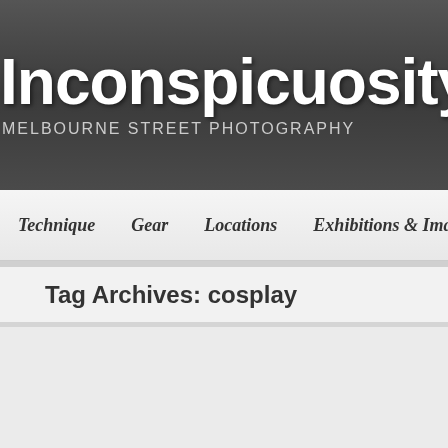Inconspicuosity
MELBOURNE STREET PHOTOGRAPHY
Technique | Gear | Locations | Exhibitions & Images | MSP's
Tag Archives: cosplay
[Figure (other): White content card/placeholder area on grey background]